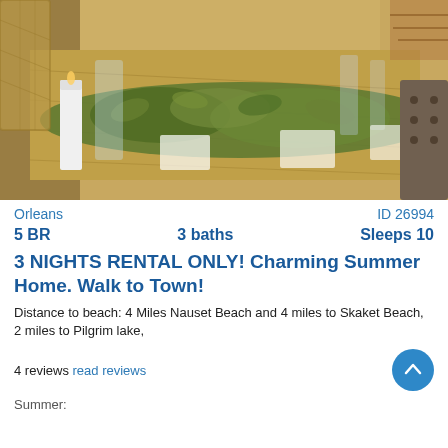[Figure (photo): Indoor dining table set with glassware, white candles, and a green leafy runner centerpiece, with wicker chairs on the left and an upholstered bench on the right, wood floor visible.]
Orleans	ID 26994
5 BR	3 baths	Sleeps 10
3 NIGHTS RENTAL ONLY! Charming Summer Home. Walk to Town!
Distance to beach: 4 Miles Nauset Beach and 4 miles to Skaket Beach, 2 miles to Pilgrim lake,
4 reviews read reviews
Summer: